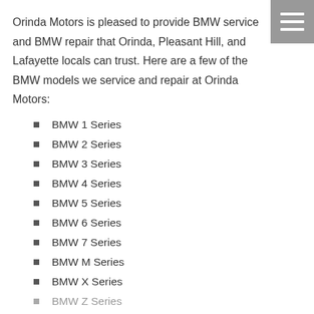Orinda Motors is pleased to provide BMW service and BMW repair that Orinda, Pleasant Hill, and Lafayette locals can trust. Here are a few of the BMW models we service and repair at Orinda Motors:
BMW 1 Series
BMW 2 Series
BMW 3 Series
BMW 4 Series
BMW 5 Series
BMW 6 Series
BMW 7 Series
BMW M Series
BMW X Series
BMW Z Series (partial)